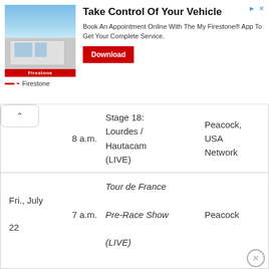[Figure (infographic): Firestone advertisement banner with building photo, headline 'Take Control Of Your Vehicle', body text, and Download button]
| Date | Time | Show | Network |
| --- | --- | --- | --- |
|  | 8 a.m. | Stage 18: Lourdes / Hautacam (LIVE) | Peacock, USA Network |
| Fri., July 22 | 7 a.m. | Tour de France Pre-Race Show (LIVE) | Peacock |
Advertisements
[Figure (photo): ULTA Beauty advertisement banner with makeup/cosmetics imagery]